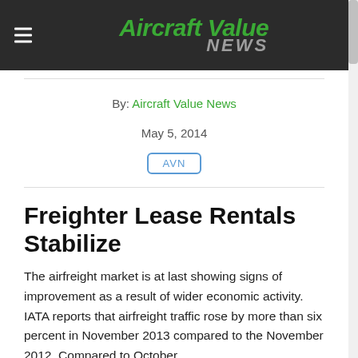Aircraft Value News
By: Aircraft Value News
May 5, 2014
AVN
Freighter Lease Rentals Stabilize
The airfreight market is at last showing signs of improvement as a result of wider economic activity. IATA reports that airfreight traffic rose by more than six percent in November 2013 compared to the November 2012. Compared to October